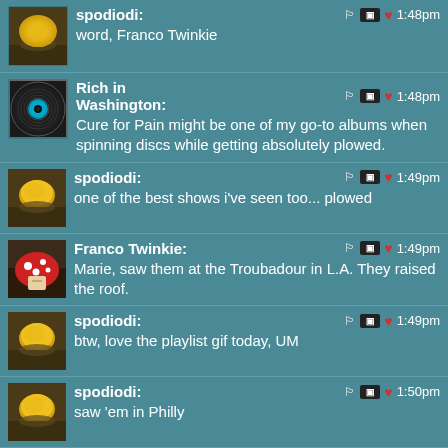spodiodi: word, Franco Twinkie 1:48pm
Rich in Washington: Cure for Pain might be one of my go-to albums when spinning discs while getting absolutely plowed. 1:48pm
spodiodi: one of the best shows i've seen too... plowed 1:49pm
Franco Twinkie: Marie, saw them at the Troubadour in L.A. They raised the roof. 1:49pm
spodiodi: btw, love the playlist gif today, UM 1:49pm
spodiodi: saw 'em in Philly 1:50pm
spodiodi: </mania> 1:50pm